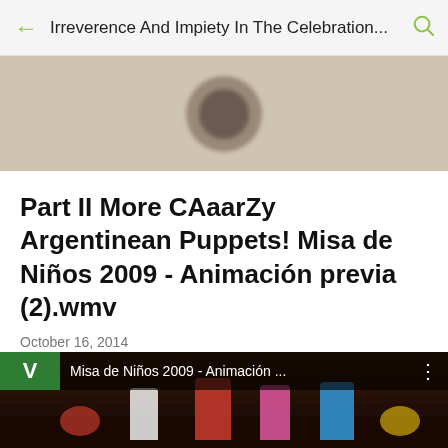Irreverence And Impiety In The Celebration...
[Figure (photo): Blurred profile avatar / banner image with beige/tan background]
Part II More CAaarZy Argentinean Puppets! Misa de Niños 2009 - Animación previa (2).wmv
October 16, 2014
[Figure (screenshot): Video thumbnail showing YouTube-style video with green V logo, title 'Misa de Niños 2009 - Animación ...' and a stage scene with costumed figures performing]